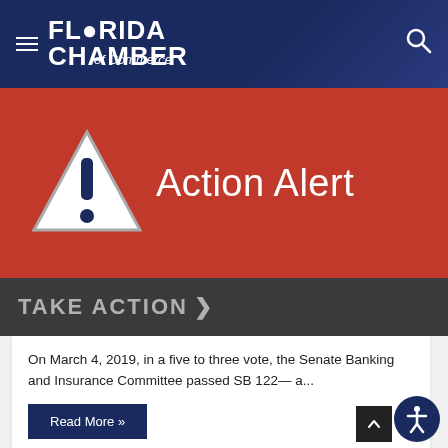[Figure (logo): Florida Chamber of Commerce logo with hamburger menu on left and search icon on right, white text on dark navy blue gradient header]
[Figure (infographic): Action Alert banner: red background with white warning triangle containing dark blue exclamation mark on left, large white 'Action Alert' text on right]
TAKE ACTION >
On March 4, 2019, in a five to three vote, the Senate Banking and Insurance Committee passed SB 122— a...
Read More »